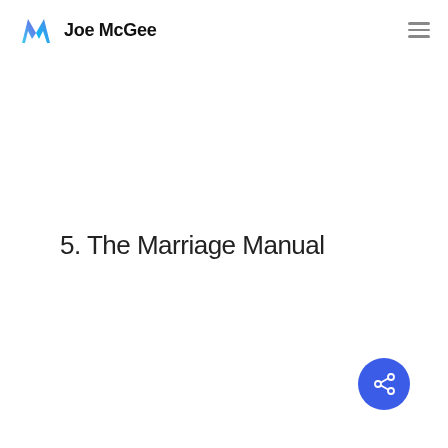Joe McGee
5.  The Marriage Manual